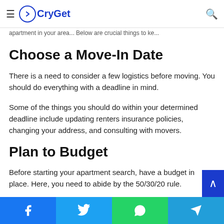CryGet
apartment in your area... Below are crucial things to ke...
Choose a Move-In Date
There is a need to consider a few logistics before moving. You should do everything with a deadline in mind.
Some of the things you should do within your determined deadline include updating renters insurance policies, changing your address, and consulting with movers.
Plan to Budget
Before starting your apartment search, have a budget in place. Here, you need to abide by the 50/30/20 rule.